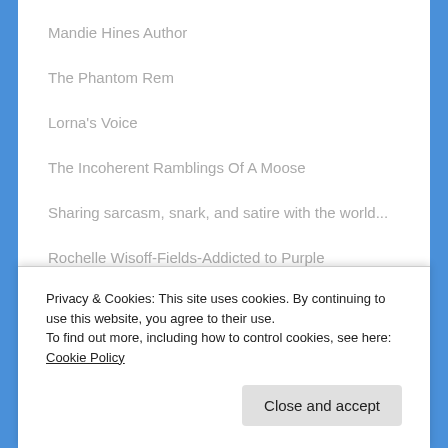Mandie Hines Author
The Phantom Rem
Lorna's Voice
The Incoherent Ramblings Of A Moose
Sharing sarcasm, snark, and satire with the world...
Rochelle Wisoff-Fields-Addicted to Purple
Problems With Infinity
Privacy & Cookies: This site uses cookies. By continuing to use this website, you agree to their use.
To find out more, including how to control cookies, see here: Cookie Policy
Close and accept